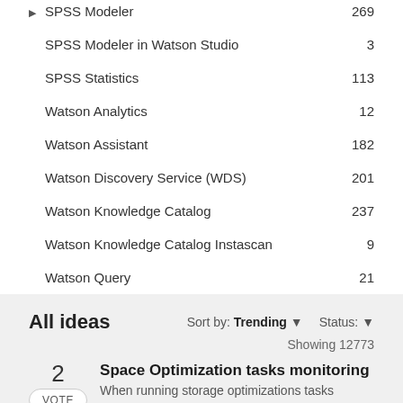SPSS Modeler  269
SPSS Modeler in Watson Studio  3
SPSS Statistics  113
Watson Analytics  12
Watson Assistant  182
Watson Discovery Service (WDS)  201
Watson Knowledge Catalog  237
Watson Knowledge Catalog Instascan  9
Watson Query  21
All ideas
Sort by: Trending ▼   Status: ▼
Showing 12773
2
Space Optimization tasks monitoring
When running storage optimizations tasks